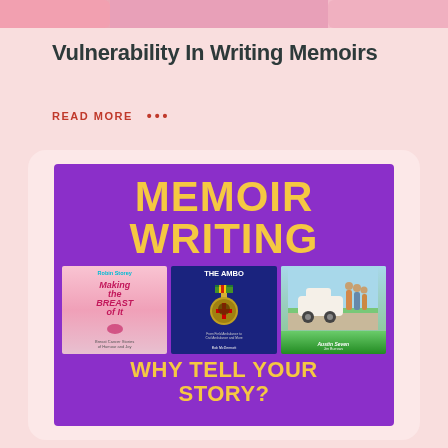Vulnerability In Writing Memoirs
READ MORE •••
[Figure (illustration): Book cover graphic with purple background showing 'MEMOIR WRITING' in yellow text, three book covers (Making the Breast of It by Robin Storey, The Ambo, and a third book with a vintage car), and subtitle 'WHY TELL YOUR STORY?' in yellow text.]